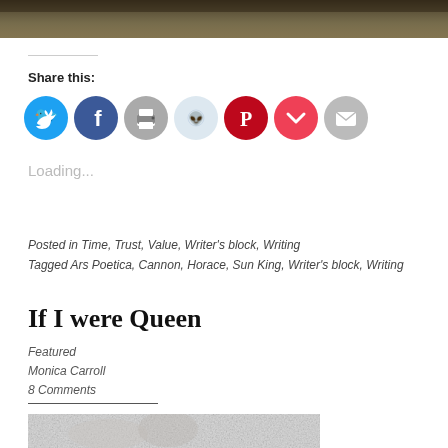[Figure (photo): Top cropped photo with dark olive/brown tones, partial image visible]
Share this:
[Figure (infographic): Row of 7 social sharing icon circles: Twitter (blue), Facebook (blue), Print (gray), Reddit (light blue), Pinterest (red), Pocket (red), Email (gray)]
Loading...
Posted in Time, Trust, Value, Writer's block, Writing
Tagged Ars Poetica, Cannon, Horace, Sun King, Writer's block, Writing
If I were Queen
Featured
Monica Carroll
8 Comments
[Figure (illustration): Pencil sketch illustration partially visible at the bottom of the page]